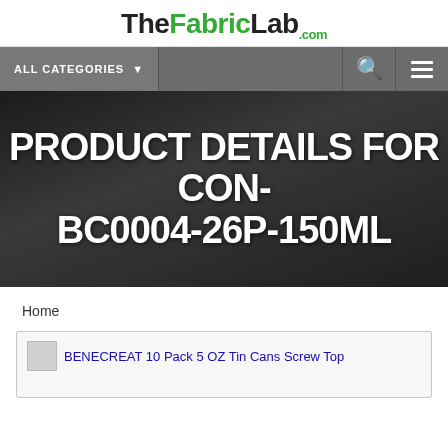TheFabricLab.com
[Figure (screenshot): Navigation bar with ALL CATEGORIES dropdown, search icon, and hamburger menu on grey background]
PRODUCT DETAILS FOR CON-BC0004-26P-150ML
Home
[Figure (screenshot): Partial product image placeholder with text: BENECREAT 10 Pack 5 OZ Tin Cans Screw Top]